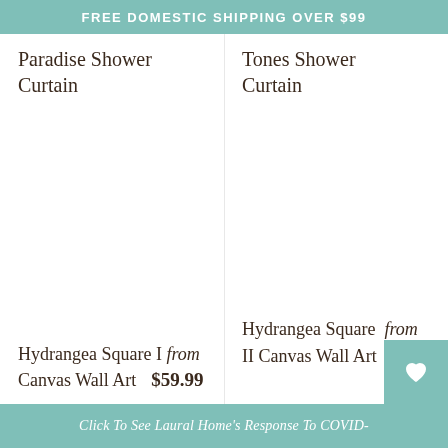FREE DOMESTIC SHIPPING OVER $99
Paradise Shower Curtain
Tones Shower Curtain
Hydrangea Square I Canvas Wall Art from $59.99
Hydrangea Square II Canvas Wall Art from $59.99
Click To See Laural Home's Response To COVID-